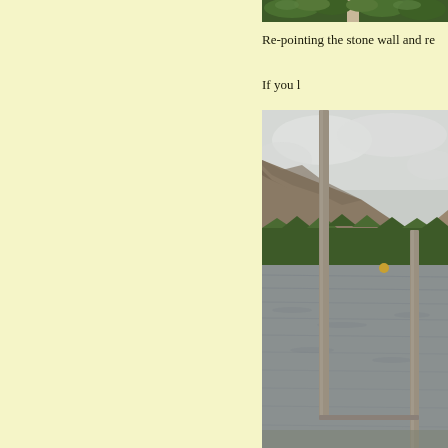[Figure (photo): Partial view of vegetation/foliage at top of page, cropped]
Re-pointing the stone wall and re
If you l
[Figure (photo): Lake or loch scene with tall wooden posts/poles in foreground, mountain with green forest in background, overcast sky, choppy water]